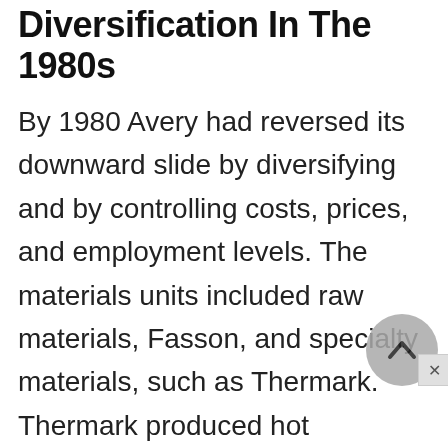Diversification In The 1980s
By 1980 Avery had reversed its downward slide by diversifying and by controlling costs, prices, and employment levels. The materials units included raw materials, Fasson, and specialty materials, such as Thermark. Thermark produced hot stamping materials for automobiles and appliances. Fasson continued to be the bread-and-butter unit of Avery; its self-adhesives were now being